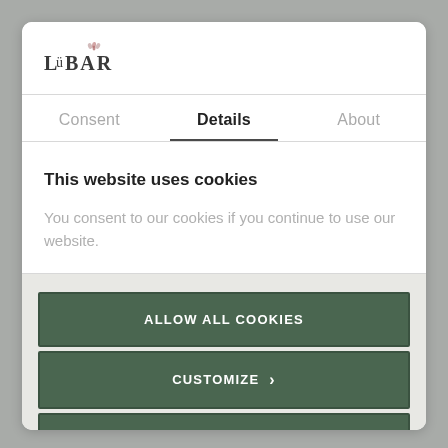[Figure (logo): LuBar logo with stylized text and small icon above]
Consent	Details	About
This website uses cookies
You consent to our cookies if you continue to use our website.
ALLOW ALL COOKIES
CUSTOMIZE ›
USE NECESSARY COOKIES ONLY
Powered by Cookiebot by Usercentrics